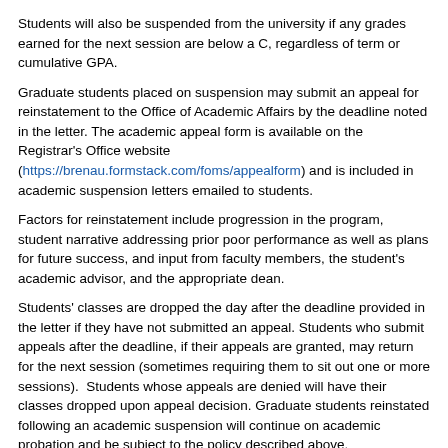Students will also be suspended from the university if any grades earned for the next session are below a C, regardless of term or cumulative GPA.
Graduate students placed on suspension may submit an appeal for reinstatement to the Office of Academic Affairs by the deadline noted in the letter. The academic appeal form is available on the Registrar's Office website (https://brenau.formstack.com/foms/appealform) and is included in academic suspension letters emailed to students.
Factors for reinstatement include progression in the program, student narrative addressing prior poor performance as well as plans for future success, and input from faculty members, the student's academic advisor, and the appropriate dean.
Students' classes are dropped the day after the deadline provided in the letter if they have not submitted an appeal. Students who submit appeals after the deadline, if their appeals are granted, may return for the next session (sometimes requiring them to sit out one or more sessions).  Students whose appeals are denied will have their classes dropped upon appeal decision. Graduate students reinstated following an academic suspension will continue on academic probation and be subject to the policy described above.
Academic Dismissal
Students granted a suspension appeal reinstatement, or readmitted after a suspension return on academic probation. Students who fail to increase the cumulative grade point average to 3.00 in the next enrolled session, regardless of the number of hours taken, will be dismissed from the university. Students on academic dismissal who are denied reinstatement or who do not submit an